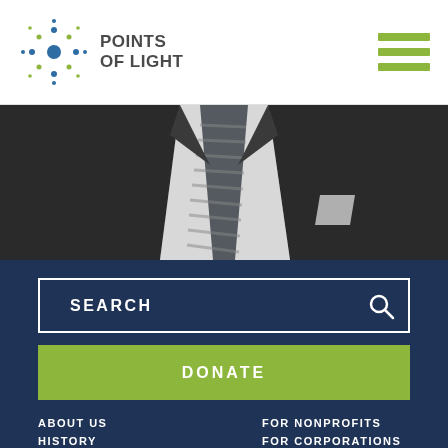[Figure (logo): Points of Light logo with star/cross icon and text 'POINTS OF LIGHT']
[Figure (photo): Photo of a person in a dark suit and striped tie, cropped to torso area]
SEARCH
DONATE
ABOUT US
FOR NONPROFITS
HISTORY
FOR CORPORATIONS
LEADERSHIP
FOR VOLUNTEERS